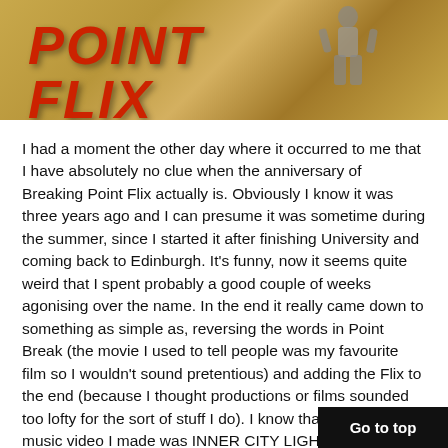[Figure (illustration): Banner image for 'Breaking Point Flix' showing the text 'POINT FLIX' in large red italic letters against a golden/tan textured background with a figure of a person on the right side]
I had a moment the other day where it occurred to me that I have absolutely no clue when the anniversary of Breaking Point Flix actually is. Obviously I know it was three years ago and I can presume it was sometime during the summer, since I started it after finishing University and coming back to Edinburgh. It's funny, now it seems quite weird that I spent probably a good couple of weeks agonising over the name. In the end it really came down to something as simple as, reversing the words in Point Break (the movie I used to tell people was my favourite film so I wouldn't sound pretentious) and adding the Flix to the end (because I thought productions or films sounded too lofty for the sort of stuff I do). I know that the first ever music video I made was INNER CITY LIGHTS for KOBI ONYAME and that it was probably shot late July or early August. But ultimately, I don't really know...